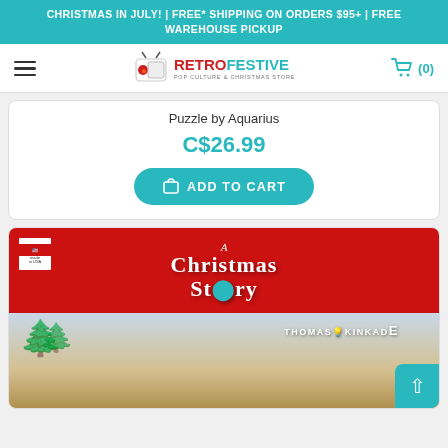CHRISTMAS IN JULY! | FREE* SHIPPING ON ORDERS $95+ | FREE WAREHOUSE PICKUP
[Figure (logo): RetroFestive Pop Culture & Christmas Store logo with retro TV icon]
Puzzle by Aquarius
C$26.99
ADD TO CART
[Figure (photo): A Christmas Story puzzle box by Aquarius featuring Thomas Kinkade artwork — red banner with A Christmas Story logo at top, winter snowy scene below with bare trees and houses]